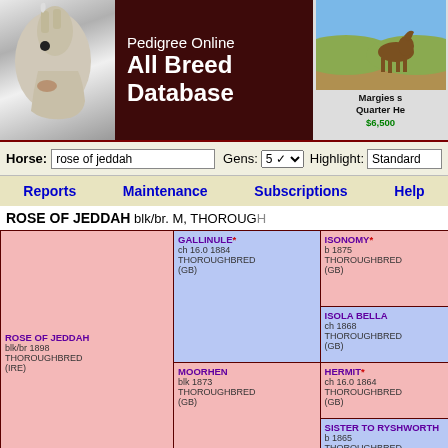Pedigree Online All Breed Database
Horse: rose of jeddah  Gens: 5  Highlight: Standard
Reports  Maintenance  Subscriptions  Help
ROSE OF JEDDAH blk/br. M, THOROUGHBRED
| Subject | Grandparent | Great-grandparent | Great-great-grandparent | 4th generation |
| --- | --- | --- | --- | --- |
| ROSE OF JEDDAH blk/br 1898 THOROUGHBRED (IRE) | GALLINULE* ch 16.0 1884 THOROUGHBRED (GB) | ISONOMY* b 1875 THOROUGHBRED (GB) | STERLING* b 1868 THOROUGHBRED (GB) | OXFORD ch 1857 |
|  |  |  |  | WHISPER b 1857 |
|  |  |  | ISOLA BELLA ch 1868 THOROUGHBRED (GB) | STOCKW... ch 16.1 18... |
|  |  |  |  | ISOLINE ch 1860 |
|  |  | MOORHEN blk 1873 THOROUGHBRED (GB) | HERMIT* ch 16.0 1864 THOROUGHBRED (GB) | NEWMIN... b 16.0 18... |
|  |  |  |  | SECLUSI... b 1857 |
|  |  |  | SISTER TO RYSHWORTH b 1865 THOROUGHBRED (GB) | SKIRMIS... br 1854 |
|  |  |  |  | VERTUM... ch 1859 |
|  | ROSE DAMOUR br 1886 | ROSICRUCIAN blk/br 16.0 1865 THOROUGHBRED | BEADSMAN* br 1855 THOROUGHBRED (GB) | WEATHE... b 1842 |
|  |  |  |  | MENDIC... br 1843 |
|  |  |  | MADAME EGLENTINE b 1857 THOROUGHBRED (GB) | COWL... b 1842 |
|  |  |  |  | DIVERSI... ch 1838 |